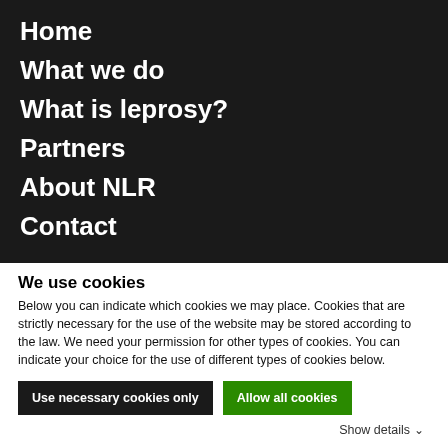Home
What we do
What is leprosy?
Partners
About NLR
Contact
We use cookies
Below you can indicate which cookies we may place. Cookies that are strictly necessary for the use of the website may be stored according to the law. We need your permission for other types of cookies. You can indicate your choice for the use of different types of cookies below.
Use necessary cookies only
Allow all cookies
Show details